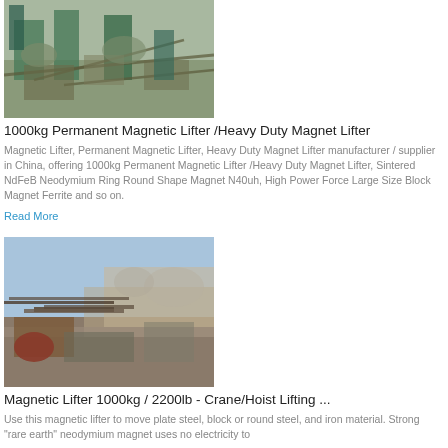[Figure (photo): Aerial view of industrial mining/crushing equipment and machinery with conveyor belts and stockpiles]
1000kg Permanent Magnetic Lifter /Heavy Duty Magnet Lifter
Magnetic Lifter, Permanent Magnetic Lifter, Heavy Duty Magnet Lifter manufacturer / supplier in China, offering 1000kg Permanent Magnetic Lifter /Heavy Duty Magnet Lifter, Sintered NdFeB Neodymium Ring Round Shape Magnet N40uh, High Power Force Large Size Block Magnet Ferrite and so on.
Read More
[Figure (photo): Industrial heavy equipment and steel materials at a construction or mining site with mountains in the background]
Magnetic Lifter 1000kg / 2200lb - Crane/Hoist Lifting ...
Use this magnetic lifter to move plate steel, block or round steel, and iron material. Strong "rare earth" neodymium magnet uses no electricity to